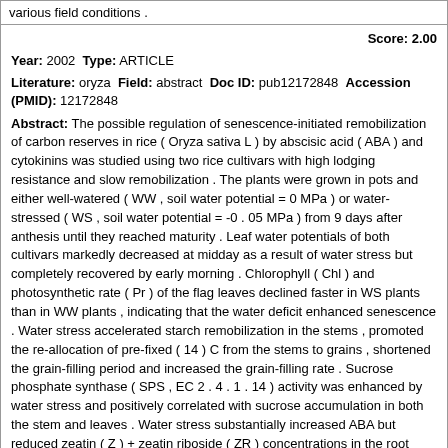various field conditions .
Score: 2.00
Year: 2002 Type: ARTICLE
Literature: oryza Field: abstract Doc ID: pub12172848 Accession (PMID): 12172848
Abstract: The possible regulation of senescence-initiated remobilization of carbon reserves in rice ( Oryza sativa L ) by abscisic acid ( ABA ) and cytokinins was studied using two rice cultivars with high lodging resistance and slow remobilization . The plants were grown in pots and either well-watered ( WW , soil water potential = 0 MPa ) or water-stressed ( WS , soil water potential = -0 . 05 MPa ) from 9 days after anthesis until they reached maturity . Leaf water potentials of both cultivars markedly decreased at midday as a result of water stress but completely recovered by early morning . Chlorophyll ( Chl ) and photosynthetic rate ( Pr ) of the flag leaves declined faster in WS plants than in WW plants , indicating that the water deficit enhanced senescence . Water stress accelerated starch remobilization in the stems , promoted the re-allocation of pre-fixed ( 14 ) C from the stems to grains , shortened the grain-filling period and increased the grain-filling rate . Sucrose phosphate synthase ( SPS , EC 2 . 4 . 1 . 14 ) activity was enhanced by water stress and positively correlated with sucrose accumulation in both the stem and leaves . Water stress substantially increased ABA but reduced zeatin ( Z ) + zeatin riboside ( ZR ) concentrations in the root exudates and leaves . ABA significantly and negatively , while Z+ZR positively , correlated with Pr and Chl of the flag leaves . ABA , not Z+ZR , was positively and significantly correlated with SPS activity and remobilization of pre-stored carbon . Spraying ABA reduced Chl in the flag leaves , and enhanced SPS activity and